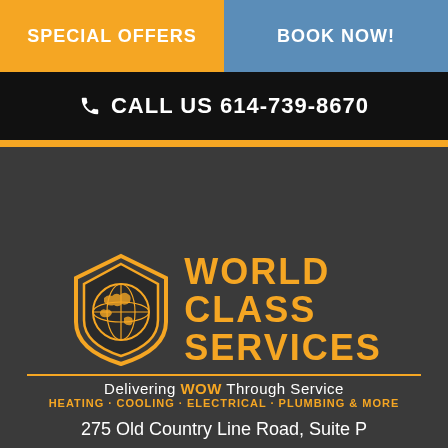SPECIAL OFFERS
BOOK NOW!
CALL US 614-739-8670
[Figure (logo): World Class Services logo with globe shield icon and company name in gold text on dark background. Tagline: Delivering WOW Through Service. Services: HEATING · COOLING · ELECTRICAL · PLUMBING & MORE]
275 Old Country Line Road, Suite P